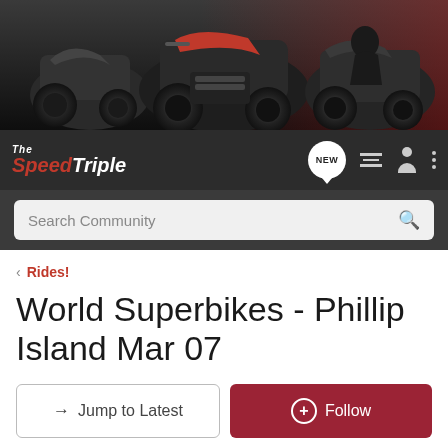[Figure (photo): Website header banner showing multiple Speed Triple motorcycles on dark background with red accents]
[Figure (screenshot): Navigation bar with The SpeedTriple logo in red italic, NEW bubble icon, list icon, person icon, and three-dot menu icon]
[Figure (screenshot): Search bar with placeholder text 'Search Community' and magnifying glass icon on dark background]
< Rides!
World Superbikes - Phillip Island Mar 07
→ Jump to Latest
+ Follow
1 - 7 of 7 Posts